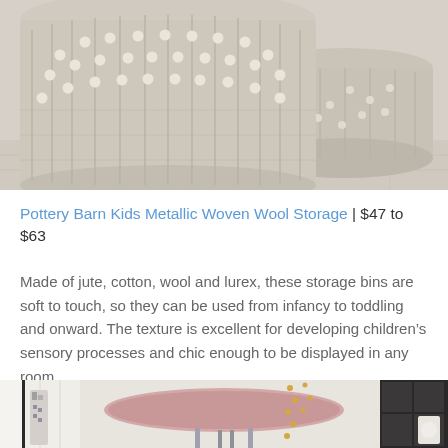[Figure (photo): Two woven wool storage baskets with metallic texture and bobble pattern detail on a light wood floor background, cropped at top]
Pottery Barn Kids Metallic Woven Wool Storage | $47 to $63
Made of jute, cotton, wool and lurex, these storage bins are soft to touch, so they can be used from infancy to toddling and onward. The texture is excellent for developing children's sensory processes and chic enough to be displayed in any room.
[Figure (photo): Partial view of a children's room with a pink round table and chrome legs, decorative items, curtains, and storage furniture — cropped at bottom of page]